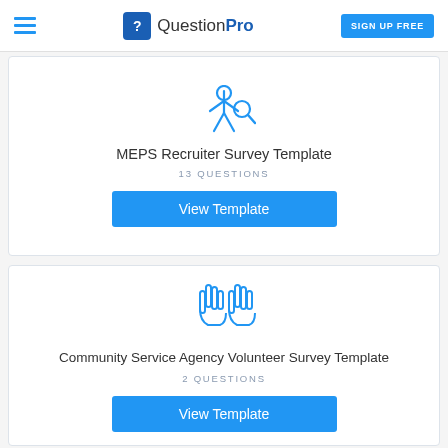QuestionPro — SIGN UP FREE
[Figure (illustration): Icon: person/recruiter silhouette in blue outline style]
MEPS Recruiter Survey Template
13 QUESTIONS
View Template
[Figure (illustration): Icon: two raised hands (volunteer/community service) in blue outline style]
Community Service Agency Volunteer Survey Template
2 QUESTIONS
View Template